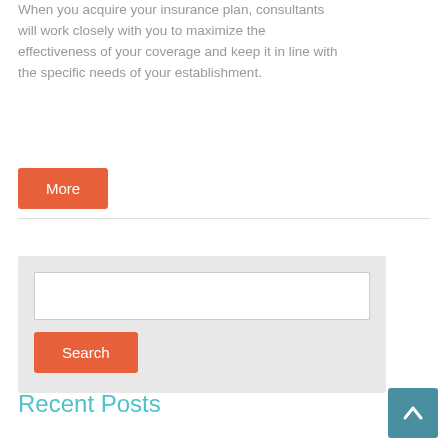When you acquire your insurance plan, consultants will work closely with you to maximize the effectiveness of your coverage and keep it in line with the specific needs of your establishment.
More
Search
Recent Posts